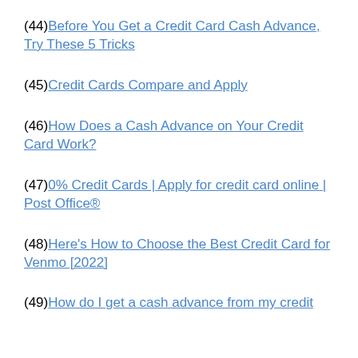(44) Before You Get a Credit Card Cash Advance, Try These 5 Tricks
(45) Credit Cards Compare and Apply
(46) How Does a Cash Advance on Your Credit Card Work?
(47) 0% Credit Cards | Apply for credit card online | Post Office®
(48) Here's How to Choose the Best Credit Card for Venmo [2022]
(49) How do I get a cash advance from my credit